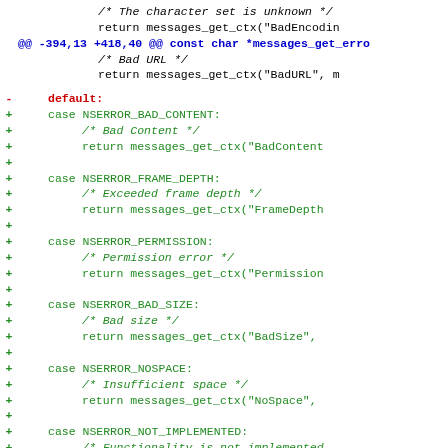[Figure (screenshot): Code diff showing changes to a C source file. Lines show removal of a default: case and addition of multiple new case statements (NSERROR_BAD_CONTENT, NSERROR_FRAME_DEPTH, NSERROR_PERMISSION, NSERROR_BAD_SIZE, NSERROR_NOSPACE, NSERROR_NOT_IMPLEMENTED) with comments and return statements calling messages_get_ctx.]